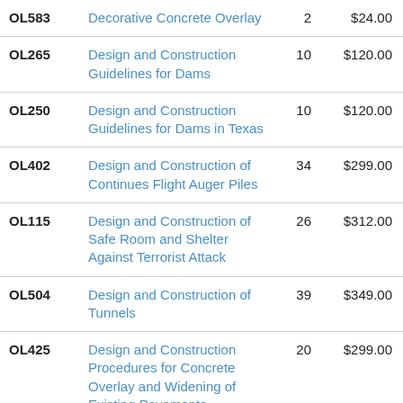| Code | Title | Qty | Price |
| --- | --- | --- | --- |
| OL583 | Decorative Concrete Overlay | 2 | $24.00 |
| OL265 | Design and Construction Guidelines for Dams | 10 | $120.00 |
| OL250 | Design and Construction Guidelines for Dams in Texas | 10 | $120.00 |
| OL402 | Design and Construction of Continues Flight Auger Piles | 34 | $299.00 |
| OL115 | Design and Construction of Safe Room and Shelter Against Terrorist Attack | 26 | $312.00 |
| OL504 | Design and Construction of Tunnels | 39 | $349.00 |
| OL425 | Design and Construction Procedures for Concrete Overlay and Widening of Existing Pavements | 20 | $299.00 |